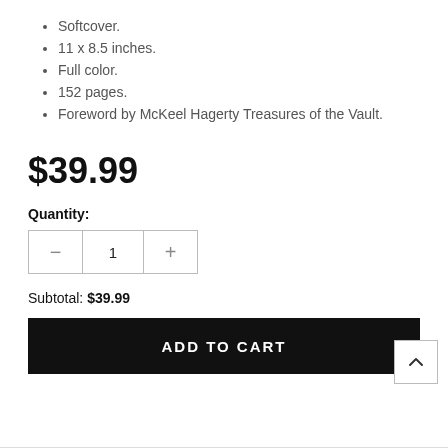Softcover.
11 x 8.5 inches.
Full color.
152 pages.
Foreword by McKeel Hagerty Treasures of the Vault.
$39.99
Quantity:
Subtotal: $39.99
ADD TO CART